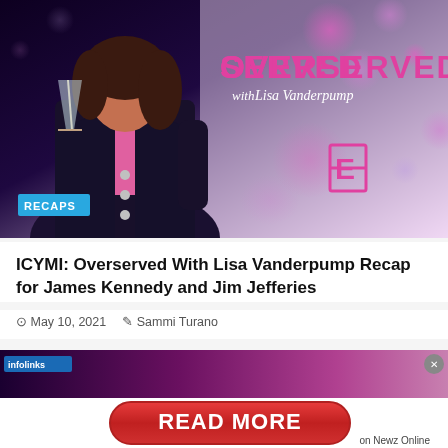[Figure (photo): Hero image for 'Overserved with Lisa Vanderpump' TV show on E! network. Shows a woman in a black blazer and pink blouse holding a champagne glass, against a purple/pink background with bokeh bubbles. Text overlay reads 'OVERSERVED with Lisa Vanderpump' in pink. E! network logo visible. RECAPS badge in lower left.]
ICYMI: Overserved With Lisa Vanderpump Recap for James Kennedy and Jim Jefferies
May 10, 2021  Sammi Turano
[Figure (screenshot): Advertisement overlay with infolinks badge in top left, close button (x) in top right, dark purple/magenta background showing partial TV show imagery.]
[Figure (infographic): Red pill-shaped 'READ MORE' call-to-action button on white background, with 'on Newz Online' text below right.]